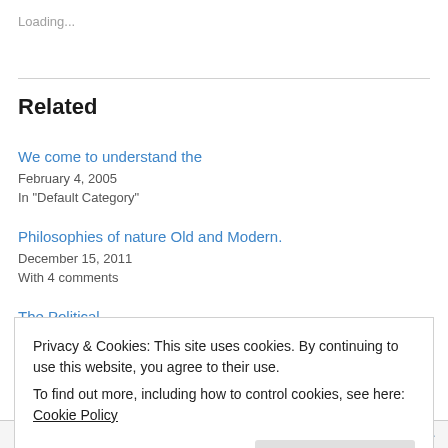Loading...
Related
We come to understand the
February 4, 2005
In "Default Category"
Philosophies of nature Old and Modern.
December 15, 2011
With 4 comments
The Political...
Privacy & Cookies: This site uses cookies. By continuing to use this website, you agree to their use.
To find out more, including how to control cookies, see here: Cookie Policy
Close and accept
Follow